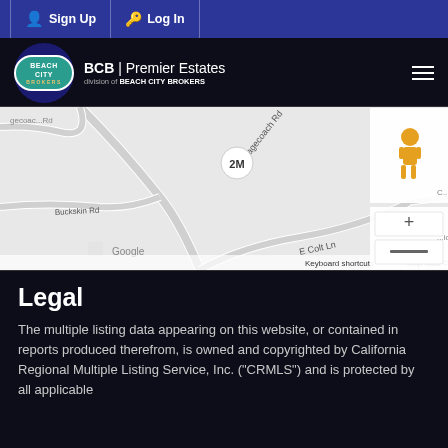Sign Up | Log In
[Figure (logo): Beach City Brokers logo with BCB Premier Estates branding]
[Figure (map): Google Maps view showing Stagecoach Rd, E Colt Ln, and surrounding area with zoom controls and street view icon. Shows 2M marker. Map data ©2022. Keyboard shortcuts, Terms of Use links visible.]
Legal
The multiple listing data appearing on this website, or contained in reports produced therefrom, is owned and copyrighted by California Regional Multiple Listing Service, Inc. ("CRMLS") and is protected by all applicable